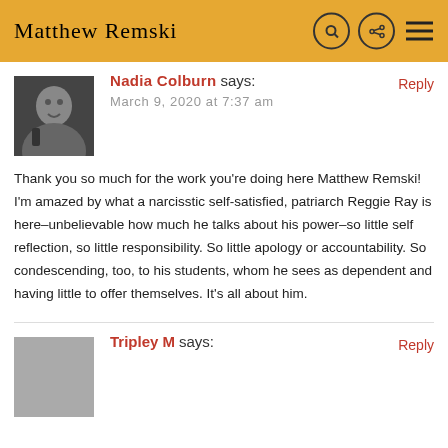Matthew Remski
Nadia Colburn says:
March 9, 2020 at 7:37 am
Thank you so much for the work you're doing here Matthew Remski! I'm amazed by what a narcisstic self-satisfied, patriarch Reggie Ray is here–unbelievable how much he talks about his power–so little self reflection, so little responsibility. So little apology or accountability. So condescending, too, to his students, whom he sees as dependent and having little to offer themselves. It's all about him.
Tripley M says: